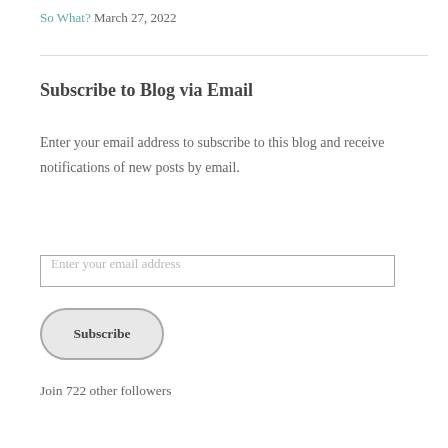So What? March 27, 2022
Subscribe to Blog via Email
Enter your email address to subscribe to this blog and receive notifications of new posts by email.
Enter your email address
Subscribe
Join 722 other followers